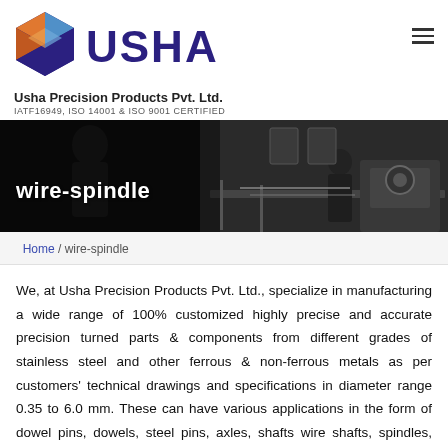[Figure (logo): Usha company logo: geometric triangular shield in orange, blue, and dark blue/purple, with USHA text in large bold dark blue letters]
Usha Precision Products Pvt. Ltd.
IATF16949, ISO 14001 & ISO 9001 CERTIFIED
[Figure (photo): Black and white banner photo of a manufacturing facility showing a worker at machinery, with text overlay 'wire-spindle']
Home / wire-spindle
We, at Usha Precision Products Pvt. Ltd., specialize in manufacturing a wide range of 100% customized highly precise and accurate precision turned parts & components from different grades of stainless steel and other ferrous & non-ferrous metals as per customers' technical drawings and specifications in diameter range 0.35 to 6.0 mm. These can have various applications in the form of dowel pins, dowels, steel pins, axles, shafts, wire shafts, spindles, cheese spinsters, dowel separators, etc.